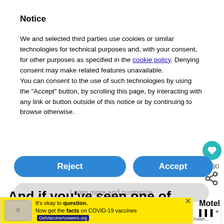Notice
We and selected third parties use cookies or similar technologies for technical purposes and, with your consent, for other purposes as specified in the cookie policy. Denying consent may make related features unavailable.
You can consent to the use of such technologies by using the “Accept” button, by scrolling this page, by interacting with any link or button outside of this notice or by continuing to browse otherwise.
[Figure (screenshot): Reject and Accept buttons (blue rounded rectangles), Learn more and customize button (grey rounded rectangle), heart icon circle, 390 count, share icon, What's Next panel showing cruise article thumbnail]
And if you’ve seen one of those, there’s a fair
[Figure (screenshot): COVID-19 vaccine ad banner: It's okay to question. Now get the facts on COVID-19 vaccines. GetVaccineAnswers.org]